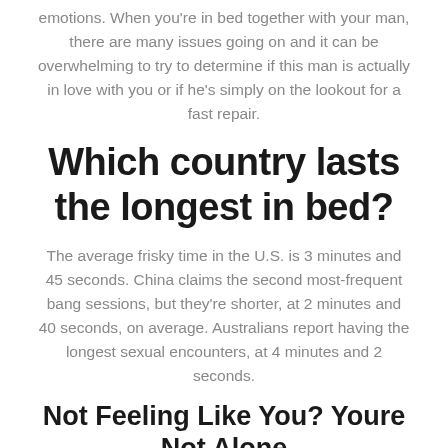emotions. When you're in bed together with your man, there are many issues going on and it can be overwhelming to try to determine if this man is actually in love with you or if he's simply on the lookout for a fast repair.
Which country lasts the longest in bed?
The average frisky time in the U.S. is 3 minutes and 45 seconds. China claims the second most-frequent bang sessions, but they're shorter, at 2 minutes and 40 seconds, on average. Australians report having the longest sexual encounters, at 4 minutes and 2 seconds.
Not Feeling Like You? Youre Not Alone
Another way to make your man pleased is to be extra